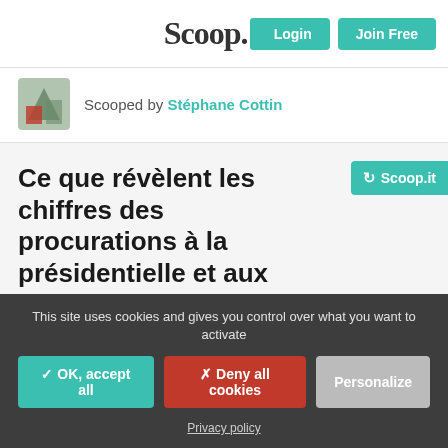Scoop.it! — Login | Join Free
Scooped by Stéphane Cottin
Ce que révèlent les chiffres des procurations à la présidentielle et aux législatives 2022
[Figure (screenshot): Two image placeholders (grey boxes) below the article title]
This site uses cookies and gives you control over what you want to activate
✓ OK, accept all | ✗ Deny all cookies | Personalize
Privacy policy